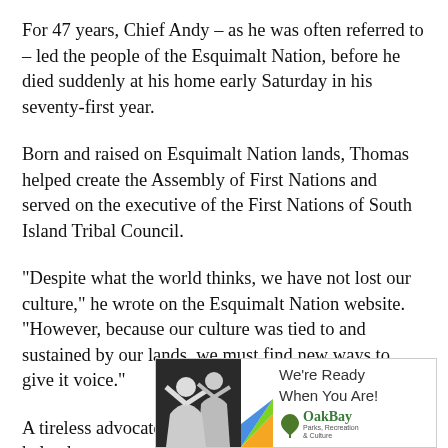For 47 years, Chief Andy – as he was often referred to – led the people of the Esquimalt Nation, before he died suddenly at his home early Saturday in his seventy-first year.
Born and raised on Esquimalt Nation lands, Thomas helped create the Assembly of First Nations and served on the executive of the First Nations of South Island Tribal Council.
“Despite what the world thinks, we have not lost our culture,” he wrote on the Esquimalt Nation website. “However, because our culture was tied to and sustained by our lands, we must find new ways to give it voice.”
A tireless advocate for Indigenous rights, Thomas helped
[Figure (infographic): Advertisement banner for Oak Bay Parks, Recreation & Culture with text 'We’re Ready When You Are!' and Oak Bay logo with leaf/tree graphic. Left side shows a photo of children with arms raised.]